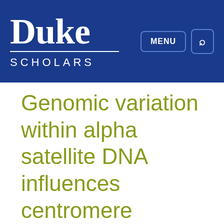Duke Scholars
Genomic variation within alpha satellite DNA influences centromere location on human chromosomes with metastable epialleles